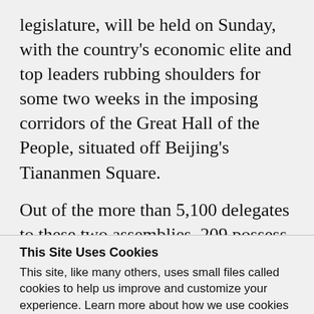legislature, will be held on Sunday, with the country’s economic elite and top leaders rubbing shoulders for some two weeks in the imposing corridors of the Great Hall of the People, situated off Beijing’s Tiananmen Square.
Out of the more than 5,100 delegates to these two assemblies, 209 possess
This Site Uses Cookies
This site, like many others, uses small files called cookies to help us improve and customize your experience. Learn more about how we use cookies in our cookie policy.
Learn more about cookies
OK